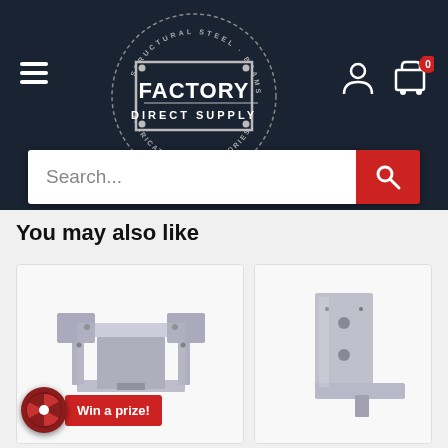[Figure (logo): Factory Direct Supply logo — circular badge with dashed border, dark navy background, bold white text reading FACTORY DIRECT SUPPLY]
[Figure (screenshot): Website header navigation with hamburger menu on left, logo in center, user account icon and cart icon (showing 0) on right, dark navy background]
[Figure (screenshot): Search bar with placeholder text 'Search...' and red search button with magnifying glass icon]
You may also like
[Figure (photo): Galvanized steel post base / column cap bracket hardware product photo on white background]
[Figure (photo): Galvanized steel L-bracket / post anchor hardware product photo on white background]
[Figure (infographic): Win a prize! badge with spinning wheel graphic in dark red circle and red label]